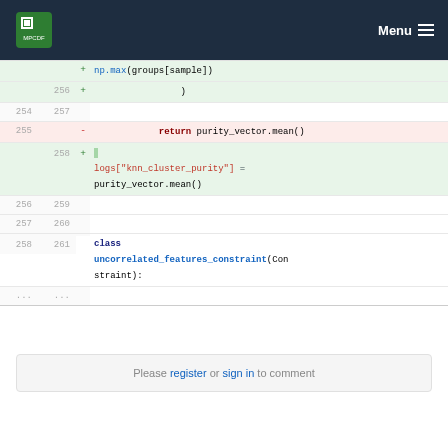MPCDF Menu
[Figure (screenshot): Code diff view showing Python code changes. Line 256 added with ')'. Lines 254/257 neutral blank. Line 255 removed with 'return purity_vector.mean()'. Line 258 added with highlighted token and logs["knn_cluster_purity"] = purity_vector.mean(). Lines 256/259, 257/260 neutral blank. Lines 258/261 with 'class uncorrelated_features_constraint(Constraint):'. Ellipsis rows at bottom.]
Please register or sign in to comment